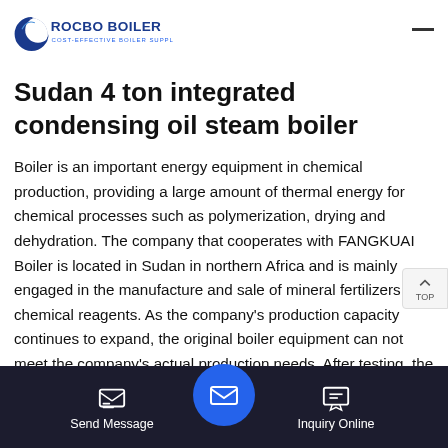[Figure (logo): Rocbo Boiler logo with crescent moon icon and tagline 'COST-EFFECTIVE BOILER SUPPLIER']
Sudan 4 ton integrated condensing oil steam boiler
Boiler is an important energy equipment in chemical production, providing a large amount of thermal energy for chemical processes such as polymerization, drying and dehydration. The company that cooperates with FANGKUAI Boiler is located in Sudan in northern Africa and is mainly engaged in the manufacture and sale of mineral fertilizers and chemical reagents. As the company's production capacity continues to expand, the original boiler equipment can not meet the company's actual production needs. After testing, the technicians of
Send Message | Inquiry Online